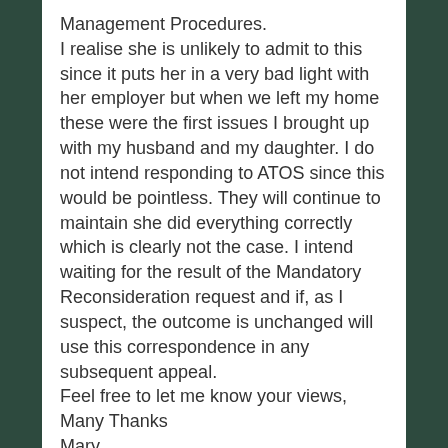Management Procedures. I realise she is unlikely to admit to this since it puts her in a very bad light with her employer but when we left my home these were the first issues I brought up with my husband and my daughter. I do not intend responding to ATOS since this would be pointless. They will continue to maintain she did everything correctly which is clearly not the case. I intend waiting for the result of the Mandatory Reconsideration request and if, as I suspect, the outcome is unchanged will use this correspondence in any subsequent appeal. Feel free to let me know your views, Many Thanks Mary